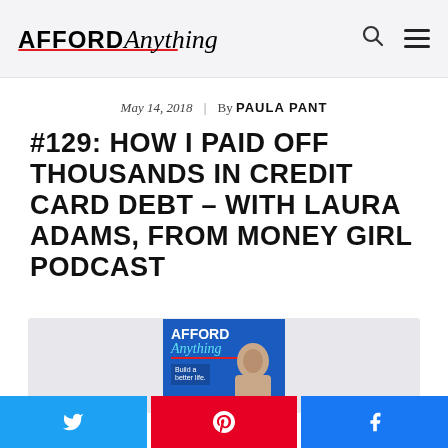AFFORD Anything
May 14, 2018 | By PAULA PANT
#129: HOW I PAID OFF THOUSANDS IN CREDIT CARD DEBT – WITH LAURA ADAMS, FROM MONEY GIRL PODCAST
[Figure (illustration): Afford Anything podcast album art showing the logo and a woman's photo, inside a gray box]
Social share buttons: Twitter, Pinterest, Facebook